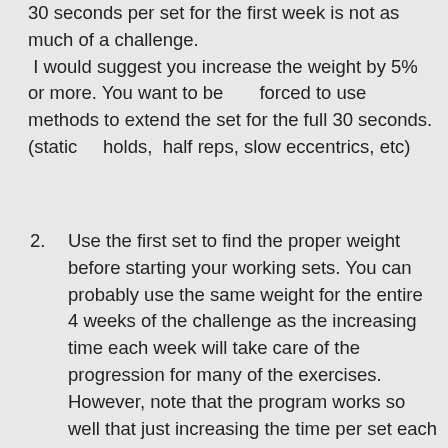30 seconds per set for the first week is not as much of a challenge. I would suggest you increase the weight by 5% or more. You want to be forced to use methods to extend the set for the full 30 seconds. (static holds, half reps, slow eccentrics, etc)
2. Use the first set to find the proper weight before starting your working sets. You can probably use the same weight for the entire 4 weeks of the challenge as the increasing time each week will take care of the progression for many of the exercises. However, note that the program works so well that just increasing the time per set each week isn't enough progression for some exercises. Don't hesitate to add weight to increase the challenge.